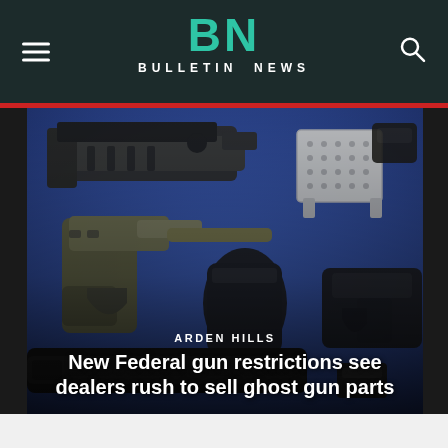BN BULLETIN NEWS
[Figure (photo): Photo of multiple ghost gun parts and firearms laid out on a blue surface, including partially assembled pistols, receiver blocks, and gun components]
ARDEN HILLS
New Federal gun restrictions see dealers rush to sell ghost gun parts